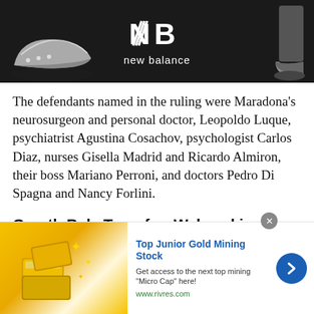[Figure (advertisement): New Balance shoe advertisement banner showing sneakers and the New Balance logo with 'new balance' text on dark background]
The defendants named in the ruling were Maradona's neurosurgeon and personal doctor, Leopoldo Luque, psychiatrist Agustina Cosachov, psychologist Carlos Diaz, nurses Gisella Madrid and Ricardo Almiron, their boss Mariano Perroni, and doctors Pedro Di Spagna and Nancy Forlini.
Gareth Bale Transfer: Wales skipper Gareth Bale in talks with Cardiff over
[Figure (advertisement): Advertisement for Top Junior Gold Mining Stock with gold bars image. Text: 'Top Junior Gold Mining Stock - Get access to the next top mining "Micro Cap" here! www.rivres.com']